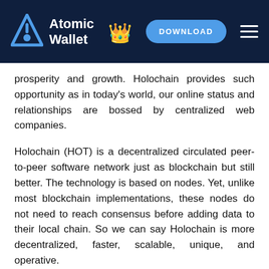Atomic Wallet | DOWNLOAD
prosperity and growth. Holochain provides such opportunity as in today’s world, our online status and relationships are bossed by centralized web companies.
Holochain (HOT) is a decentralized circulated peer-to-peer software network just as blockchain but still better. The technology is based on nodes. Yet, unlike most blockchain implementations, these nodes do not need to reach consensus before adding data to their local chain. So we can say Holochain is more decentralized, faster, scalable, unique, and operative.
As an example, the first blockchain tech Bitcoin